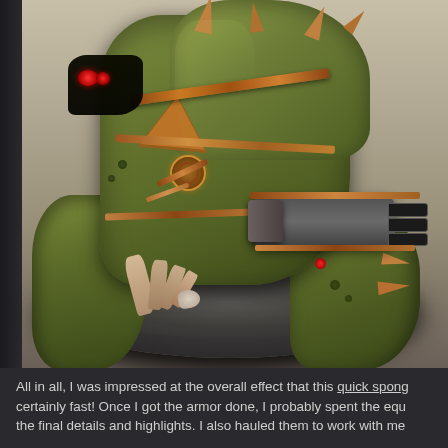[Figure (photo): Close-up photograph of a painted Warhammer-style miniature figure on a round base. The model features armor painted in olive/khaki green with copper and rust-colored trim, spikes, a weapon barrel, and small red accent details. The base is textured with dark gravel. Background is blurred grey/tan.]
All in all, I was impressed at the overall effect that this quick spong certainly fast! Once I got the armor done, I probably spent the equ the final details and highlights. I also hauled them to work with me